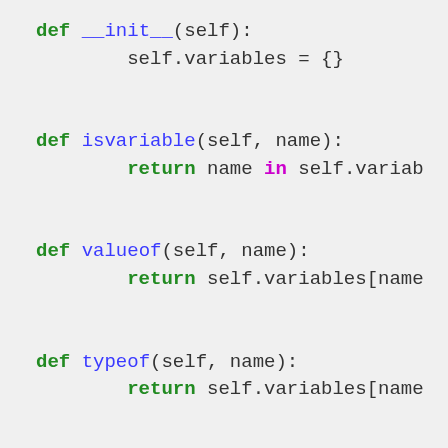[Figure (screenshot): Python source code showing class method definitions: __init__, isvariable, valueof, typeof, and visit methods with syntax highlighting. Keywords 'def', 'return', 'if' in green bold; function names in blue; 'in' in magenta; string literals in red.]